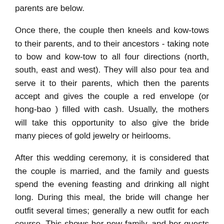parents are below.
Once there, the couple then kneels and kow-tows to their parents, and to their ancestors - taking note to bow and kow-tow to all four directions (north, south, east and west). They will also pour tea and serve it to their parents, which then the parents accept and gives the couple a red envelope (or hong-bao ) filled with cash. Usually, the mothers will take this opportunity to also give the bride many pieces of gold jewelry or heirlooms.
After this wedding ceremony, it is considered that the couple is married, and the family and guests spend the evening feasting and drinking all night long. During this meal, the bride will change her outfit several times; generally a new outfit for each course. This shows her new family, and her guests her wealth and status. Oftentimes, many games will be played during this banquet. Guests give the bride and groom gifts of cash, stuffed in red